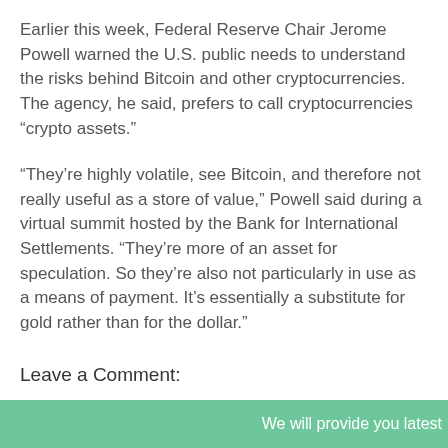Earlier this week, Federal Reserve Chair Jerome Powell warned the U.S. public needs to understand the risks behind Bitcoin and other cryptocurrencies. The agency, he said, prefers to call cryptocurrencies "crypto assets."
"They're highly volatile, see Bitcoin, and therefore not really useful as a store of value," Powell said during a virtual summit hosted by the Bank for International Settlements. "They're more of an asset for speculation. So they're also not particularly in use as a means of payment. It's essentially a substitute for gold rather than for the dollar."
Leave a Comment:
We will provide you latest